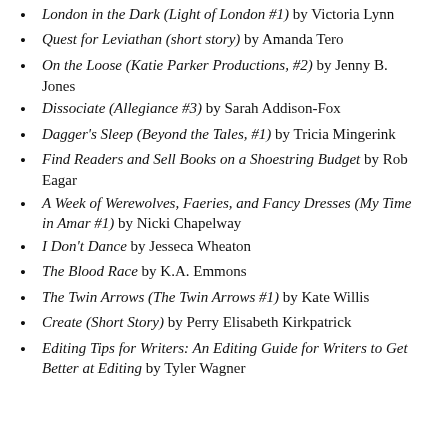London in the Dark (Light of London #1) by Victoria Lynn
Quest for Leviathan (short story) by Amanda Tero
On the Loose (Katie Parker Productions, #2) by Jenny B. Jones
Dissociate (Allegiance #3) by Sarah Addison-Fox
Dagger's Sleep (Beyond the Tales, #1) by Tricia Mingerink
Find Readers and Sell Books on a Shoestring Budget by Rob Eagar
A Week of Werewolves, Faeries, and Fancy Dresses (My Time in Amar #1) by Nicki Chapelway
I Don't Dance by Jesseca Wheaton
The Blood Race by K.A. Emmons
The Twin Arrows (The Twin Arrows #1) by Kate Willis
Create (Short Story) by Perry Elisabeth Kirkpatrick
Editing Tips for Writers: An Editing Guide for Writers to Get Better at Editing by Tyler Wagner